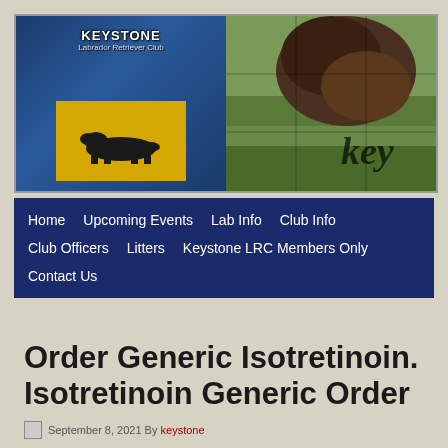[Figure (photo): Keystone Labrador Retriever Club website header showing club logo on left (yellow background with black lab silhouette, blue background) and a brown/chocolate Labrador dog photo on right with 'key' text overlay]
[Figure (screenshot): Navigation bar with dark navy blue background containing menu items: Home, Upcoming Events, Lab Info, Club Info, Club Officers, Litters, Keystone LRC Members Only, Contact Us]
Order Generic Isotretinoin. Isotretinoin Generic Order
September 8, 2021 By keystone